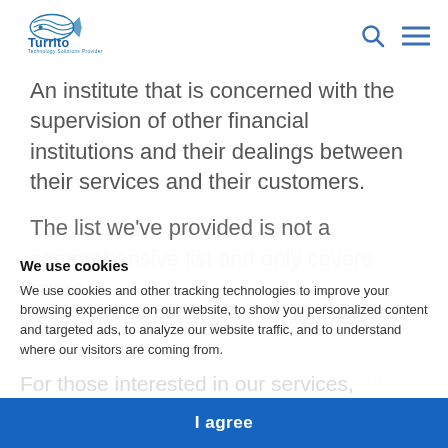[Figure (logo): Turrito Technology Solutions Provider logo with stylized fish/wave graphic in blue]
An institute that is concerned with the supervision of other financial institutions and their dealings between their services and their customers.
The list we've provided is not a comprehensive list and only covers some of the main acronyms we used in our day-to-day speech. If you were to step into our office, you might also hear us talking about...
We use cookies
We use cookies and other tracking technologies to improve your browsing experience on our website, to show you personalized content and targeted ads, to analyze our website traffic, and to understand where our visitors are coming from.
I agree